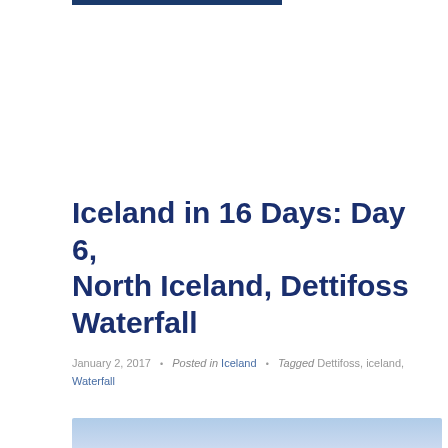Iceland in 16 Days: Day 6, North Iceland, Dettifoss Waterfall
January 2, 2017  •  Posted in Iceland  •  Tagged Dettifoss, iceland, Waterfall
[Figure (photo): Aerial or landscape photo of a blue sky with clouds and a waterfall or natural scene in North Iceland, partially visible at the bottom of the page]